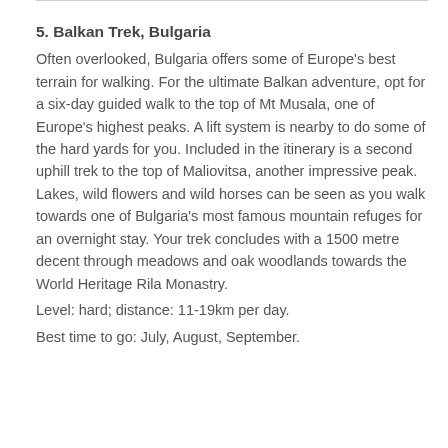5. Balkan Trek, Bulgaria
Often overlooked, Bulgaria offers some of Europe's best terrain for walking. For the ultimate Balkan adventure, opt for a six-day guided walk to the top of Mt Musala, one of Europe's highest peaks. A lift system is nearby to do some of the hard yards for you. Included in the itinerary is a second uphill trek to the top of Maliovitsa, another impressive peak. Lakes, wild flowers and wild horses can be seen as you walk towards one of Bulgaria's most famous mountain refuges for an overnight stay. Your trek concludes with a 1500 metre decent through meadows and oak woodlands towards the World Heritage Rila Monastry.
Level: hard; distance: 11-19km per day.
Best time to go: July, August, September.